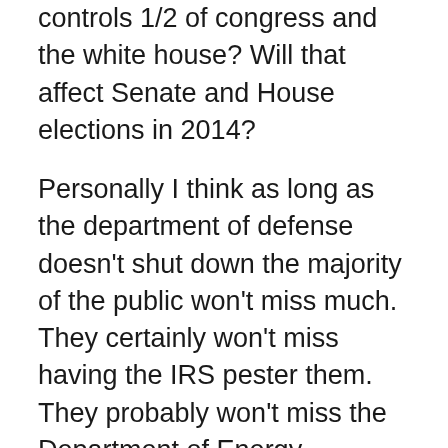controls 1/2 of congress and the white house? Will that affect Senate and House elections in 2014?
Personally I think as long as the department of defense doesn't shut down the majority of the public won't miss much. They certainly won't miss having the IRS pester them. They probably won't miss the Department of Energy, Department of Education, Department of Agriculture, TSA, GSA, or any other of the myriads of federal bureaucracies. Oh and the entitlement programs that liberal constituencies love so much? They don't stop if there is a shutdown. They won't get roused one way or another and this won't be a major draw for them to go to the ballot box next November. Remember that last time the Democrats failed to gain control of the House of Representatives and lost two seats in the Senate. This time there is no presidential election in 2014 and in 2016 the incumbent is